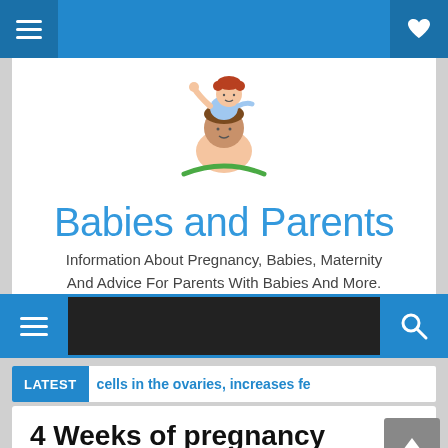Top navigation bar with menu and heart/favorite icon
[Figure (logo): Babies and Parents website logo - cartoon child sitting on adult's shoulders, with site title and tagline]
Babies and Parents
Information About Pregnancy, Babies, Maternity And Advice For Parents With Babies And More.
Navigation bar with hamburger menu and search icon
LATEST cells in the ovaries, increases fe
4 Weeks of pregnancy
0  Pregnancy Weeks  11:12 AM